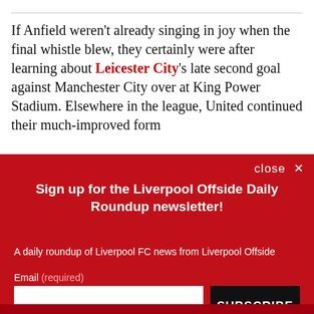If Anfield weren't already singing in joy when the final whistle blew, they certainly were after learning about Leicester City's late second goal against Manchester City over at King Power Stadium. Elsewhere in the league, United continued their much-improved form
[Figure (other): Newsletter signup overlay with red background. Title: Sign up for the Liverpool Offside Daily Roundup newsletter! Subtitle: A daily roundup of Liverpool FC news from Liverpool Offside. Email input field and SUBSCRIBE button. Footer legal text about Terms, Privacy Notice, reCAPTCHA, Google Privacy Policy and Terms of Service.]